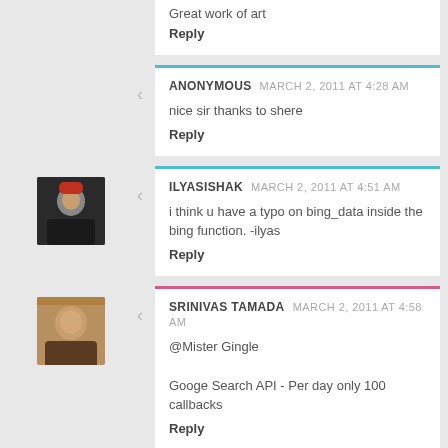Great work of art
Reply
ANONYMOUS  MARCH 2, 2011 AT 4:28 AM
nice sir thanks to shere
Reply
ILYASISHAK  MARCH 2, 2011 AT 4:51 AM
i think u have a typo on bing_data inside the bing function. -ilyas
Reply
SRINIVAS TAMADA  MARCH 2, 2011 AT 4:58 AM
@Mister Gingle

Googe Search API - Per day only 100 callbacks
Reply